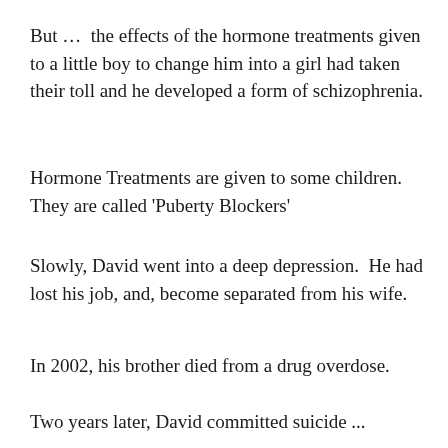But …  the effects of the hormone treatments given to a little boy to change him into a girl had taken their toll and he developed a form of schizophrenia.
Hormone Treatments are given to some children. They are called 'Puberty Blockers'
Slowly, David went into a deep depression.  He had lost his job, and, become separated from his wife.
In 2002, his brother died from a drug overdose.
Two years later, David committed suicide ...